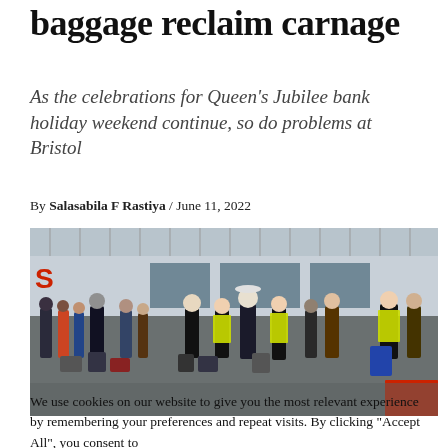baggage reclaim carnage
As the celebrations for Queen's Jubilee bank holiday weekend continue, so do problems at Bristol
By Salasabila F Rastiya / June 11, 2022
[Figure (photo): Crowd of travelers with luggage standing outside an airport terminal building, some wearing high-visibility vests]
We use cookies on our website to give you the most relevant experience by remembering your preferences and repeat visits. By clicking "Accept All", you consent to